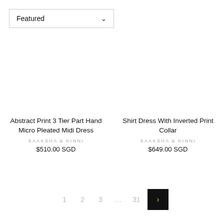Featured
Abstract Print 3 Tier Part Hand Micro Pleated Midi Dress
SAAKSHA & KINNI
$510.00 SGD
Shirt Dress With Inverted Print Collar
SAAKSHA & KINNI
$649.00 SGD
1  2  3  ...  31  >